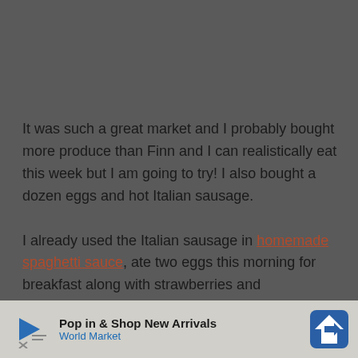It was such a great market and I probably bought more produce than Finn and I can realistically eat this week but I am going to try! I also bought a dozen eggs and hot Italian sausage.
I already used the Italian sausage in homemade spaghetti sauce, ate two eggs this morning for breakfast along with strawberries and blackberries, had a tomato sandwich for lunch yesterday and a salad for lunch today with the cucumbers, carrots and radishes so I am off to a strong start!
Pop in & Shop New Arrivals World Market